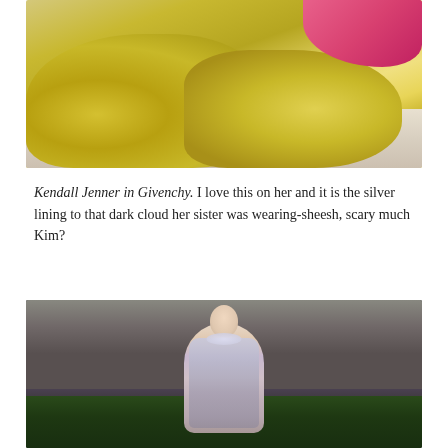[Figure (photo): Top portion of a person in a large yellow/chartreuse ballgown dress on a light floor, with a pink/magenta dress visible at upper right corner]
Kendall Jenner in Givenchy. I love this on her and it is the silver lining to that dark cloud her sister was wearing-sheesh, scary much Kim?
[Figure (photo): Kendall Jenner in a silver crystal/beaded sheer Givenchy gown with high collar, smiling on the Met Gala red carpet with photographers in the background and green hedges in the foreground]